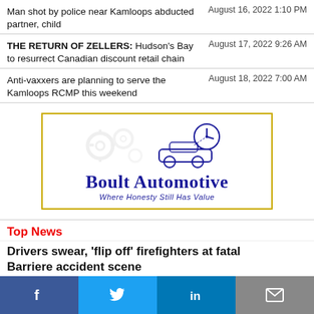Man shot by police near Kamloops abducted partner, child
August 16, 2022 1:10 PM
THE RETURN OF ZELLERS: Hudson's Bay to resurrect Canadian discount retail chain
August 17, 2022 9:26 AM
Anti-vaxxers are planning to serve the Kamloops RCMP this weekend
August 18, 2022 7:00 AM
[Figure (logo): Boult Automotive advertisement logo with gears and car with clock. Text: 'Boult Automotive - Where Honesty Still Has Value']
Top News
Drivers swear, 'flip off' firefighters at fatal Barriere accident scene
Firefighters and paramedics blocked highway traffic near Barriere on and off for roughly six hours on Tuesday when o